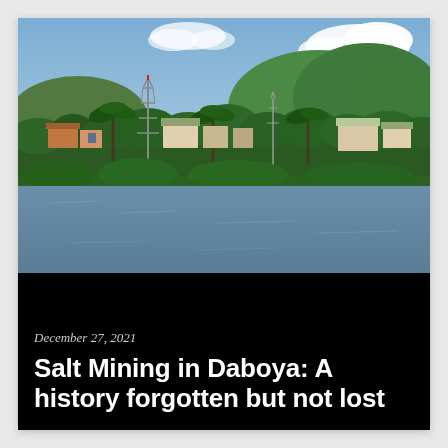[Figure (photo): Aerial/elevated view of a West African town (Daboya area) with a river in the foreground, lush green vegetation, palm trees, various buildings, a tall radio/communication tower, and green hills in the background under a partly cloudy sky.]
December 27, 2021
Salt Mining in Daboya: A history forgotten but not lost